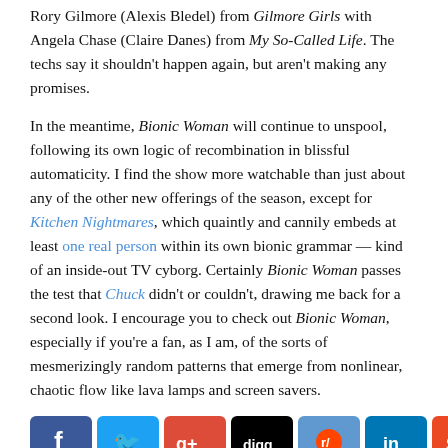Rory Gilmore (Alexis Bledel) from Gilmore Girls with Angela Chase (Claire Danes) from My So-Called Life. The techs say it shouldn't happen again, but aren't making any promises.
In the meantime, Bionic Woman will continue to unspool, following its own logic of recombination in blissful automaticity. I find the show more watchable than just about any of the other new offerings of the season, except for Kitchen Nightmares, which quaintly and cannily embeds at least one real person within its own bionic grammar — kind of an inside-out TV cyborg. Certainly Bionic Woman passes the test that Chuck didn't or couldn't, drawing me back for a second look. I encourage you to check out Bionic Woman, especially if you're a fan, as I am, of the sorts of mesmerizingly random patterns that emerge from nonlinear, chaotic flow like lava lamps and screen savers.
[Figure (other): Social sharing icons: Facebook, Twitter, Google+, Digg, Reddit, LinkedIn, StumbleUpon, Tumblr, Pinterest Save]
This entry was posted in Reviews and tagged television by